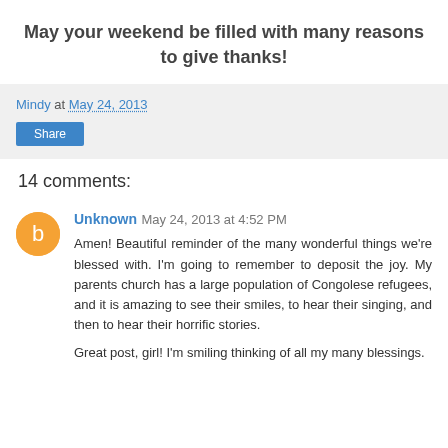May your weekend be filled with many reasons to give thanks!
Mindy at May 24, 2013
14 comments:
Unknown May 24, 2013 at 4:52 PM
Amen! Beautiful reminder of the many wonderful things we're blessed with. I'm going to remember to deposit the joy. My parents church has a large population of Congolese refugees, and it is amazing to see their smiles, to hear their singing, and then to hear their horrific stories.

Great post, girl! I'm smiling thinking of all my many blessings.